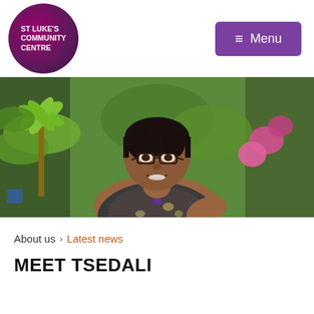[Figure (logo): St Luke's Community Centre circular logo with white text on purple/magenta gradient background]
[Figure (other): Purple rounded rectangle Menu button with hamburger icon]
[Figure (photo): A woman with glasses and dark hair smiling in a lush garden with tropical plants and pink flowers in the background]
About us > Latest news
MEET TSEDALI